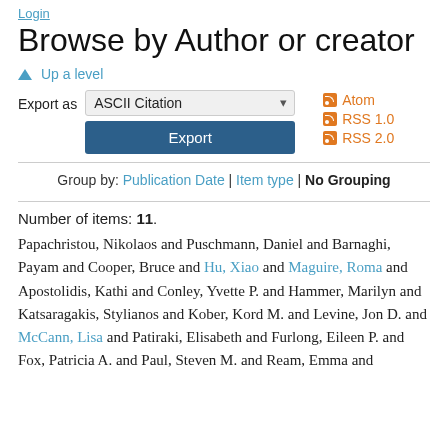Login
Browse by Author or creator
Up a level
Export as ASCII Citation  Export  Atom  RSS 1.0  RSS 2.0
Group by: Publication Date | Item type | No Grouping
Number of items: 11.
Papachristou, Nikolaos and Puschmann, Daniel and Barnaghi, Payam and Cooper, Bruce and Hu, Xiao and Maguire, Roma and Apostolidis, Kathi and Conley, Yvette P. and Hammer, Marilyn and Katsaragakis, Stylianos and Kober, Kord M. and Levine, Jon D. and McCann, Lisa and Patiraki, Elisabeth and Furlong, Eileen P. and Fox, Patricia A. and Paul, Steven M. and Ream, Emma and